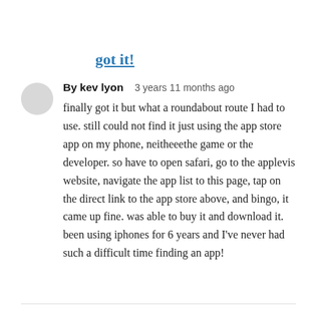got it!
By kev lyon   3 years 11 months ago
finally got it but what a roundabout route I had to use. still could not find it just using the app store app on my phone, neitheeethe game or the developer. so have to open safari, go to the applevis website, navigate the app list to this page, tap on the direct link to the app store above, and bingo, it came up fine. was able to buy it and download it. been using iphones for 6 years and I've never had such a difficult time finding an app!